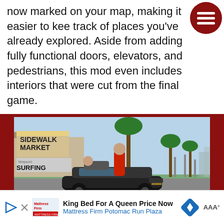now marked on your map, making it easier to keep track of places you've already explored. Aside from adding fully functional doors, elevators, and pedestrians, this mod even includes interiors that were cut from the final game.
[Figure (photo): Screenshot from GTA V showing two characters in a convertible sports car in front of a Sidewalk Market and Vespucci Surfing shop, with palm trees and a sunny beach city backdrop.]
King Bed For A Queen Price Now Mattress Firm Potomac Run Plaza